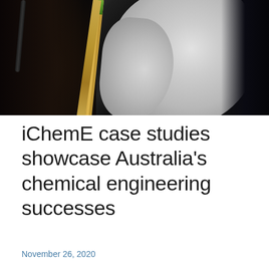[Figure (photo): A person in a white lab coat holding a long stick or rod with a green tip, working over a dark container or vessel. The background is dark. The image appears to show chemical engineering fieldwork or sampling.]
iChemE case studies showcase Australia's chemical engineering successes
November 26, 2020